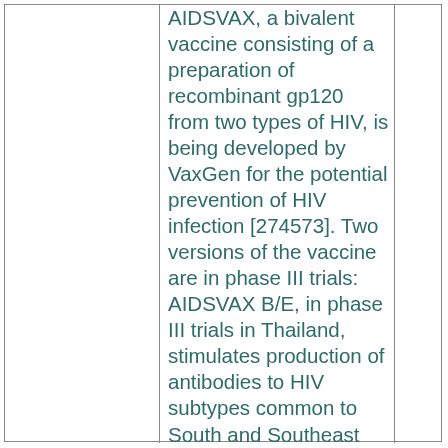AIDSVAX, a bivalent vaccine consisting of a preparation of recombinant gp120 from two types of HIV, is being developed by VaxGen for the potential prevention of HIV infection [274573]. Two versions of the vaccine are in phase III trials: AIDSVAX B/E, in phase III trials in Thailand, stimulates production of antibodies to HIV subtypes common to South and Southeast Asia, and countries of the Pacific Rim; and AIDSVAX B/B, in phase III trials in the US and Europe, stimulates production of antibodies to HIV subtypes that are found in the Americas, Europe, the Caribbean and Australia [314265].